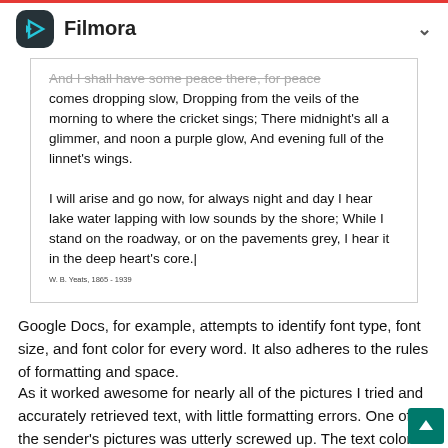Filmora
[Figure (screenshot): Screenshot of a document editor showing poem text: 'And I shall have some peace there, for peace comes dropping slow, Dropping from the veils of the morning to where the cricket sings; There midnight's all a glimmer, and noon a purple glow, And evening full of the linnet's wings. I will arise and go now, for always night and day I hear lake water lapping with low sounds by the shore; While I stand on the roadway, or on the pavements grey, I hear it in the deep heart's core.' Attribution: W. B. Yeats, 1865-1939]
Google Docs, for example, attempts to identify font type, font size, and font color for every word. It also adheres to the rules of formatting and space.
As it worked awesome for nearly all of the pictures I tried and accurately retrieved text, with little formatting errors. One of the sender's pictures was utterly screwed up. The text color